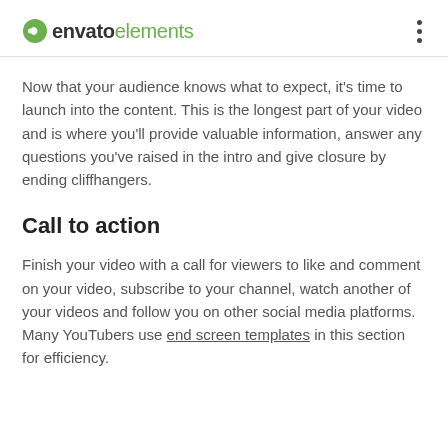envato elements
Now that your audience knows what to expect, it’s time to launch into the content. This is the longest part of your video and is where you’ll provide valuable information, answer any questions you’ve raised in the intro and give closure by ending cliffhangers.
Call to action
Finish your video with a call for viewers to like and comment on your video, subscribe to your channel, watch another of your videos and follow you on other social media platforms. Many YouTubers use end screen templates in this section for efficiency.